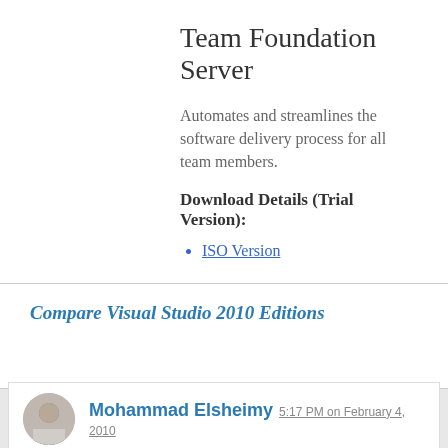Team Foundation Server
Automates and streamlines the software delivery process for all team members.
Download Details (Trial Version):
ISO Version
Compare Visual Studio 2010 Editions
Mohammad Elsheimy 5:17 PM on February 4, 2010